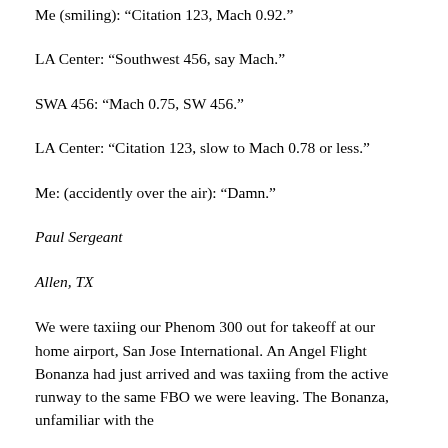Me (smiling): “Citation 123, Mach 0.92.”
LA Center: “Southwest 456, say Mach.”
SWA 456: “Mach 0.75, SW 456.”
LA Center: “Citation 123, slow to Mach 0.78 or less.”
Me: (accidently over the air): “Damn.”
Paul Sergeant
Allen, TX
We were taxiing our Phenom 300 out for takeoff at our home airport, San Jose International. An Angel Flight Bonanza had just arrived and was taxiing from the active runway to the same FBO we were leaving. The Bonanza, unfamiliar with the